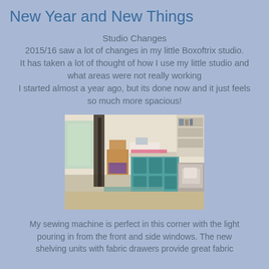New Year and New Things
Studio Changes
2015/16 saw a lot of changes in my little Boxoftrix studio. It has taken a lot of thought of how I use my little studio and what areas were not really working
I started almost a year ago, but its done now and it just feels so much more spacious!
[Figure (photo): Interior of a small sewing/craft studio showing teal storage drawers, a wooden chair, sewing machine area, and an armchair with pillows near windows.]
My sewing machine is perfect in this corner with the light pouring in from the front and side windows. The new shelving units with fabric drawers provide great fabric